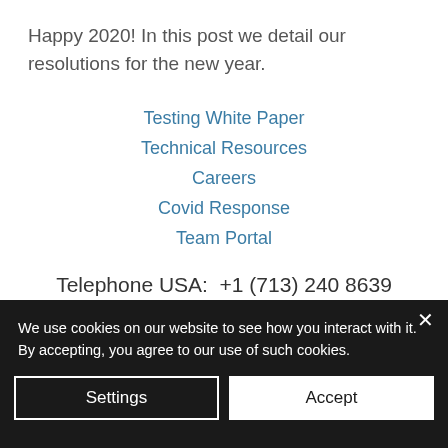Happy 2020! In this post we detail our resolutions for the new year.
Testing White Paper
Technical Resources
Careers
Covid Response
Team Portal
Telephone USA:  +1 (713) 240 8639
16840 Clay Rd, Suite 106
We use cookies on our website to see how you interact with it. By accepting, you agree to our use of such cookies.